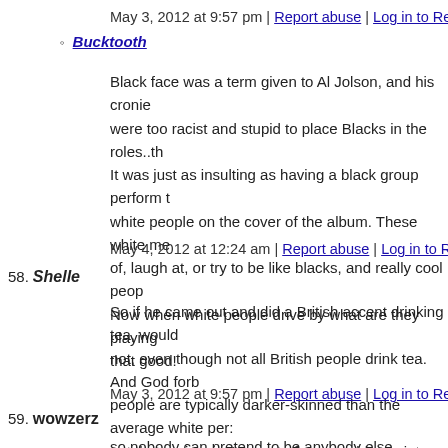May 3, 2012 at 9:57 pm | Report abuse | Log in to Reply
Bucktooth
Black face was a term given to Al Jolson, and his cronie... were too racist and stupid to place Blacks in the roles..th It was just as insulting as having a black group perform t white people on the cover of the album. These white me of, laugh at, or try to be like blacks, and really cool peop Now when white people drive by what are they playing ... that good!
May 4, 2012 at 12:24 am | Report abuse | Log in to Repl
58. Shelle
So if he came out and did a British accent drinking tea, would not, even though not all British people drink tea. And God forb people are typically darker-skinned than the average white per: out that racism isn't a part of reasonable society anymore and l differences. People are always looking for something else to w
May 3, 2012 at 9:57 pm | Report abuse | Log in to Reply
59. wowzerz
so nobody can pretend to be anybody else anymore? unless the